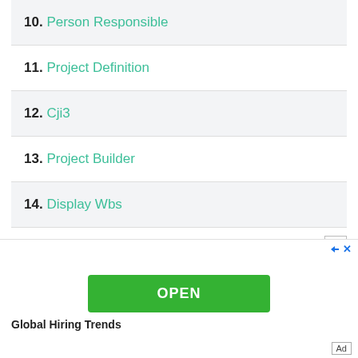10. Person Responsible
11. Project Definition
12. Cji3
13. Project Builder
14. Display Wbs
15. Wbs Element List
OPEN
Global Hiring Trends
Ad